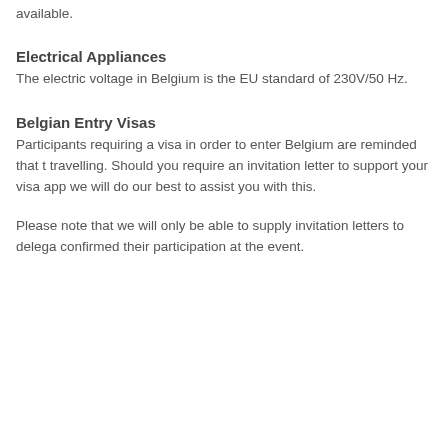available.
Electrical Appliances
The electric voltage in Belgium is the EU standard of 230V/50 Hz.
Belgian Entry Visas
Participants requiring a visa in order to enter Belgium are reminded that t travelling. Should you require an invitation letter to support your visa app we will do our best to assist you with this.
Please note that we will only be able to supply invitation letters to delega confirmed their participation at the event.